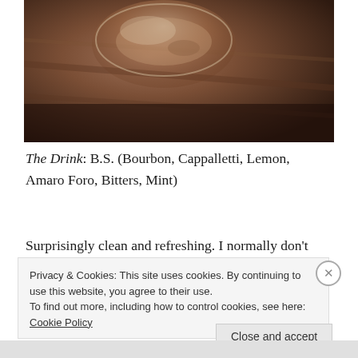[Figure (photo): Close-up photo of a cocktail drink in a glass on a wooden surface, dimly lit, warm brown tones]
The Drink: B.S. (Bourbon, Cappalletti, Lemon, Amaro Foro, Bitters, Mint)
Surprisingly clean and refreshing. I normally don't choose cocktails because they taste sticky and sweet to
Privacy & Cookies: This site uses cookies. By continuing to use this website, you agree to their use.
To find out more, including how to control cookies, see here: Cookie Policy
Close and accept